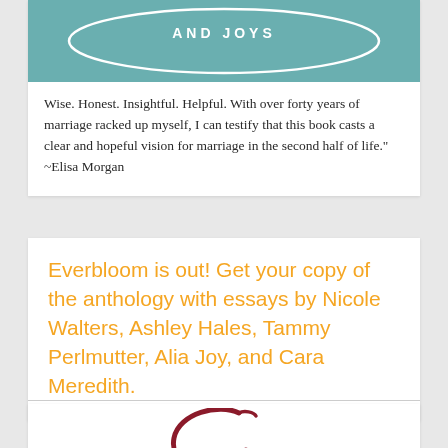[Figure (illustration): Book cover with teal background, white text reading 'AND JOYS' with an oval/pill shape outline]
Wise. Honest. Insightful. Helpful. With over forty years of marriage racked up myself, I can testify that this book casts a clear and hopeful vision for marriage in the second half of life." ~Elisa Morgan
Everbloom is out! Get your copy of the anthology with essays by Nicole Walters, Ashley Hales, Tammy Perlmutter, Alia Joy, and Cara Meredith.
[Figure (logo): Partial decorative script letter C in dark red/maroon color, bottom of page]